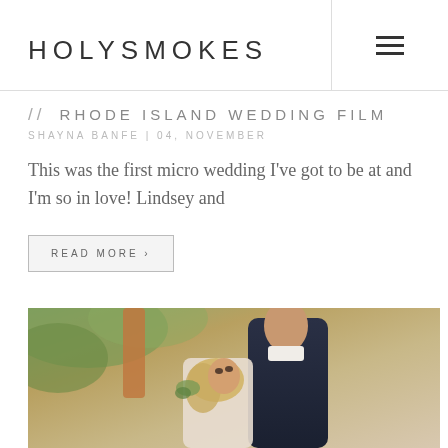HOLYSMOKES
// RHODE ISLAND WEDDING FILM
SHAYNA BANFE | 04, NOVEMBER
This was the first micro wedding I've got to be at and I'm so in love! Lindsey and
READ MORE >
[Figure (photo): A couple in a romantic pose outdoors; the groom in a dark suit and the bride with blonde hair looking up at him, with green foliage in background]